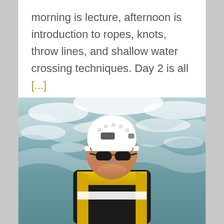morning is lecture, afternoon is introduction to ropes, knots, throw lines, and shallow water crossing techniques. Day 2 is all [...]
[Figure (photo): A person wearing a white safety helmet with headlamp, dark sunglasses, and a yellow life vest with white reflective stripe, smiling in front of rushing whitewater rapids or waterfall.]